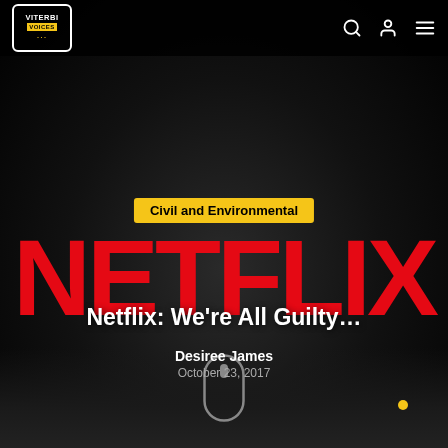[Figure (logo): Viterbi Voices logo: white rounded rectangle with VITERBI text on top, VOICES in yellow box below, yellow dots at bottom]
[Figure (screenshot): Netflix logo in large red bold text on dark background]
Civil and Environmental
Netflix: We’re All Guilty…
Desiree James
October 23, 2017